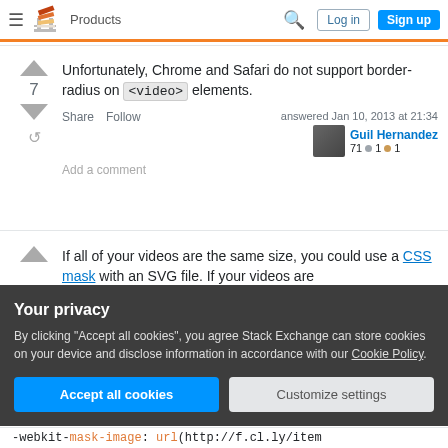Stack Overflow navigation bar with Products, Log in, Sign up
Unfortunately, Chrome and Safari do not support border-radius on <video> elements.
Share  Follow  answered Jan 10, 2013 at 21:34  Guil Hernandez  71 ● 1 ● 1
Add a comment
If all of your videos are the same size, you could use a CSS mask with an SVG file. If your videos are
Your privacy
By clicking "Accept all cookies", you agree Stack Exchange can store cookies on your device and disclose information in accordance with our Cookie Policy.
Accept all cookies  Customize settings
-webkit-mask-image: url(http://f.cl.ly/item